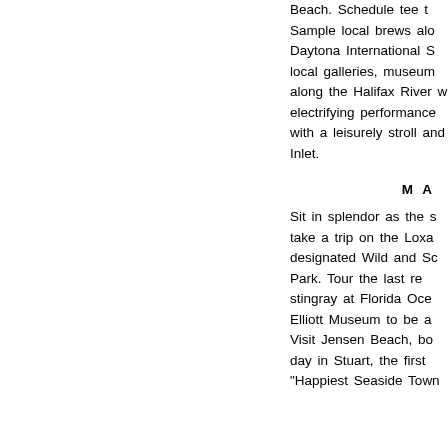Beach. Schedule tee t... Sample local brews alo... Daytona International S... local galleries, museum... along the Halifax River w... electrifying performance... with a leisurely stroll and... Inlet.
M A ...
Sit in splendor as the s... take a trip on the Loxa... designated Wild and Sc... Park. Tour the last re... stingray at Florida Oce... Elliott Museum to be a... Visit Jensen Beach, bo... day in Stuart, the first ... "Happiest Seaside Town...